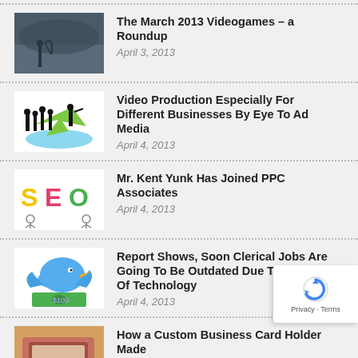The March 2013 Videogames – a Roundup
April 3, 2013
Video Production Especially For Different Businesses By Eye To Ad Media
April 4, 2013
Mr. Kent Yunk Has Joined PPC Associates
April 4, 2013
Report Shows, Soon Clerical Jobs Are Going To Be Outdated Due To Increase Of Technology
April 4, 2013
How a Custom Business Card Holder Made
April 30, 2013